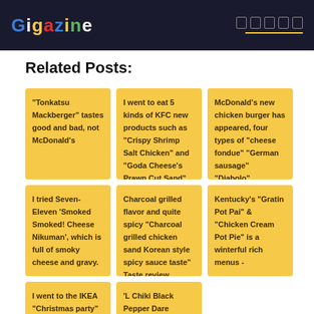Gigazine
Related Posts:
"Tonkatsu Mackberger" tastes good and bad, not McDonald's
I went to eat 5 kinds of KFC new products such as "Crispy Shrimp Salt Chicken" and "Goda Cheese's Prawn Cut Sand"
McDonald's new chicken burger has appeared, four types of "cheese fondue" "German sausage" "Diabolo" "carbonara"
I tried Seven-Eleven 'Smoked Smoked! Cheese Nikuman', which is full of smoky cheese and gravy.
Charcoal grilled flavor and quite spicy "Charcoal grilled chicken sand Korean style spicy sauce taste" Taste review
Kentucky's "Gratin Pot Pai" & "Chicken Cream Pot Pie" is a winterful rich menus -
I went to the IKEA "Christmas party" with all-you-can-eat meat dishes &
'L Chiki Black Pepper Dare Flavor' tasting review with a